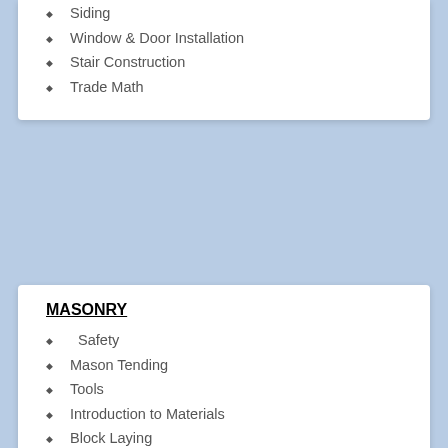Siding
Window & Door Installation
Stair Construction
Trade Math
MASONRY
Safety
Mason Tending
Tools
Introduction to Materials
Block Laying
Brick Laying
Trade Terms
Stair Construction
Trade Math
Intro to Concrete Estimating and Foundation